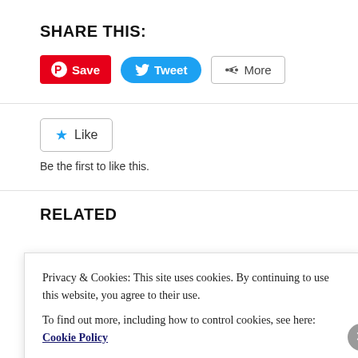SHARE THIS:
[Figure (screenshot): Social sharing buttons: Pinterest Save (red), Twitter Tweet (blue), More (grey outlined)]
[Figure (screenshot): Like button with blue star and text 'Be the first to like this.']
Be the first to like this.
RELATED
Privacy & Cookies: This site uses cookies. By continuing to use this website, you agree to their use.
To find out more, including how to control cookies, see here: Cookie Policy
Close and accept